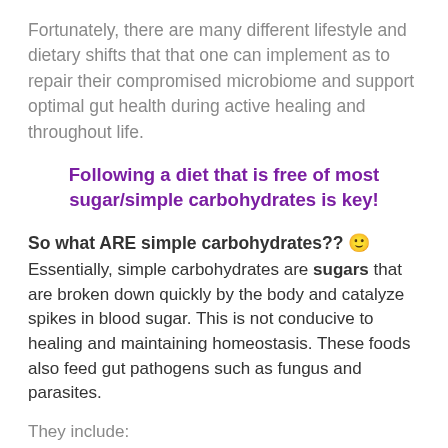Fortunately, there are many different lifestyle and dietary shifts that that one can implement as to repair their compromised microbiome and support optimal gut health during active healing and throughout life.
Following a diet that is free of most sugar/simple carbohydrates is key!
So what ARE simple carbohydrates?? 🙂 Essentially, simple carbohydrates are sugars that are broken down quickly by the body and catalyze spikes in blood sugar. This is not conducive to healing and maintaining homeostasis. These foods also feed gut pathogens such as fungus and parasites.
They include: